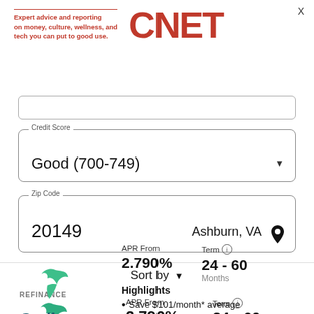[Figure (logo): CNET logo with tagline: Expert advice and reporting on money, culture, wellness, and tech you can put to good use.]
Credit Score
Good (700-749)
Zip Code
20149   Ashburn, VA
Sort by
REFINANCE
| APR From | Term |
| --- | --- |
| 2.790% | 24 - 60 Months |
[Figure (logo): Caribou logo - green stylized bird/leaf icon with Caribou text in dark teal]
Highlights
Save $101/month* average